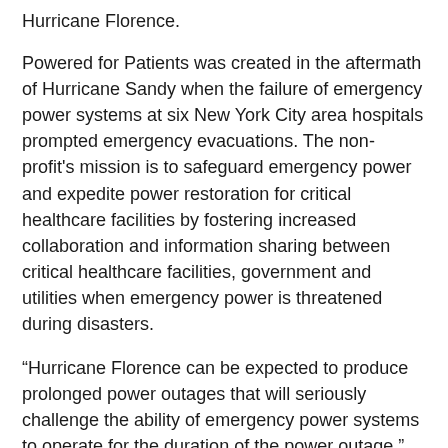Hurricane Florence.
Powered for Patients was created in the aftermath of Hurricane Sandy when the failure of emergency power systems at six New York City area hospitals prompted emergency evacuations. The non-profit's mission is to safeguard emergency power and expedite power restoration for critical healthcare facilities by fostering increased collaboration and information sharing between critical healthcare facilities, government and utilities when emergency power is threatened during disasters.
“Hurricane Florence can be expected to produce prolonged power outages that will seriously challenge the ability of emergency power systems to operate for the duration of the power outage,” said Eric Cote, Project Director for Powered for Patients. “This reality makes it critically important for facility managers at hospitals, skilled nursing facilities and dialysis centers take steps now to ensure that their emergency power systems are as prepared as possible for